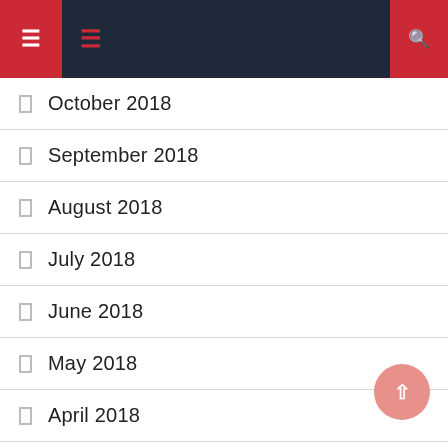Navigation bar with menu icons
October 2018
September 2018
August 2018
July 2018
June 2018
May 2018
April 2018
March 2018
February 2018
January 2018